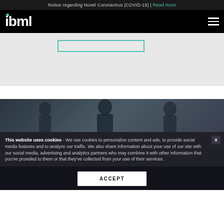Notice regarding Novel Coronavirus (COVID-19) | Read more
[Figure (logo): ibml logo in white text on black background with teal dot accent, and hamburger menu icon on right]
[Figure (screenshot): Light gray area with teal-bordered search/input box visible in upper portion]
[Figure (photo): Dark blue-gray section with silhouetted figures in background]
This website uses cookies - We use cookies to personalize content and ads, to provide social media features and to analyze our traffic. We also share information about your use of our site with our social media, advertising and analytics partners who may combine it with other information that you've provided to them or that they've collected from your use of their services.
ACCEPT